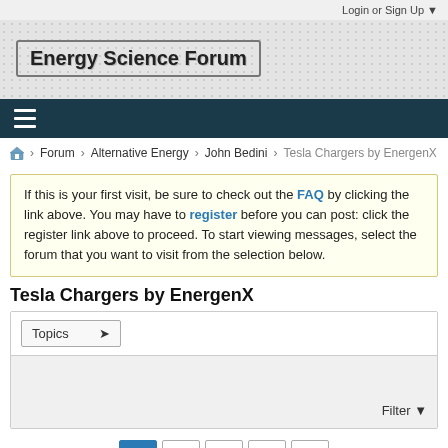Login or Sign Up ▼
Energy Science Forum
[Figure (screenshot): Navigation hamburger menu icon (three horizontal white lines) on dark teal/navy background]
Forum › Alternative Energy › John Bedini › Tesla Chargers by EnergenX
If this is your first visit, be sure to check out the FAQ by clicking the link above. You may have to register before you can post: click the register link above to proceed. To start viewing messages, select the forum that you want to visit from the selection below.
Tesla Chargers by EnergenX
Topics ▼
Filter ▼